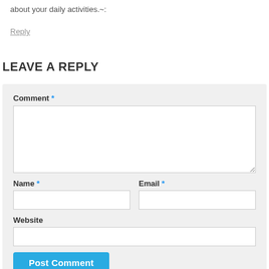about your daily activities.~:
Reply
LEAVE A REPLY
Comment *
Name *
Email *
Website
Post Comment